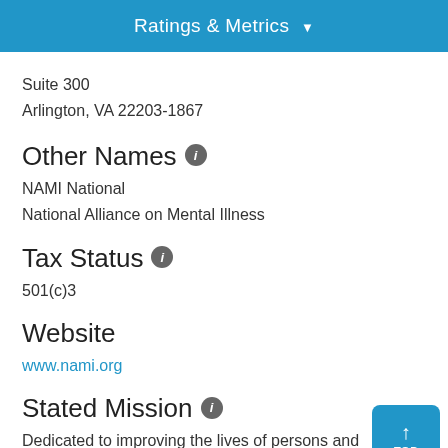Ratings & Metrics ▼
Suite 300
Arlington, VA 22203-1867
Other Names ℹ
NAMI National
National Alliance on Mental Illness
Tax Status ℹ
501(c)3
Website
www.nami.org
Stated Mission ℹ
Dedicated to improving the lives of persons and their families living with serious mental illness.